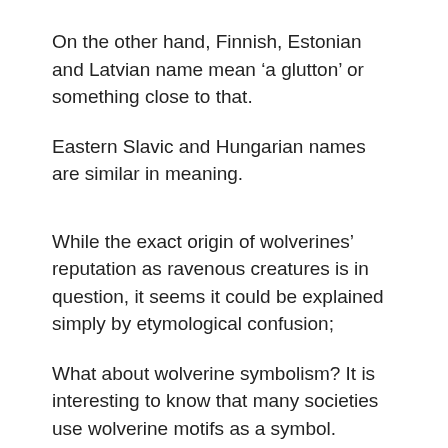On the other hand, Finnish, Estonian and Latvian name mean ‘a glutton’ or something close to that.
Eastern Slavic and Hungarian names are similar in meaning.
While the exact origin of wolverines’ reputation as ravenous creatures is in question, it seems it could be explained simply by etymological confusion;
What about wolverine symbolism? It is interesting to know that many societies use wolverine motifs as a symbol.
The state of Michigan, for example, features wolverine